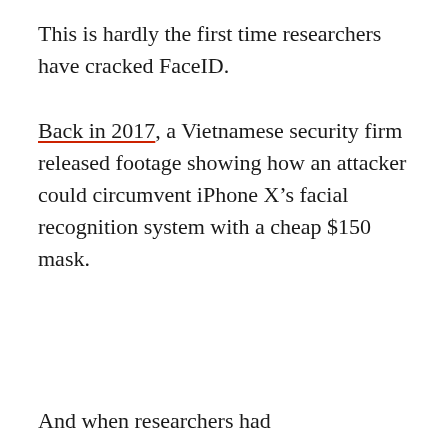This is hardly the first time researchers have cracked FaceID.
Back in 2017, a Vietnamese security firm released footage showing how an attacker could circumvent iPhone X’s facial recognition system with a cheap $150 mask.
And when researchers had...